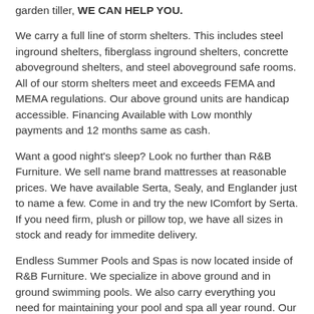garden tiller, WE CAN HELP YOU.
We carry a full line of storm shelters. This includes steel inground shelters, fiberglass inground shelters, concrette aboveground shelters, and steel aboveground safe rooms. All of our storm shelters meet and exceeds FEMA and MEMA regulations. Our above ground units are handicap accessible. Financing Available with Low monthly payments and 12 months same as cash.
Want a good night's sleep? Look no further than R&B Furniture. We sell name brand mattresses at reasonable prices. We have available Serta, Sealy, and Englander just to name a few. Come in and try the new IComfort by Serta. If you need firm, plush or pillow top, we have all sizes in stock and ready for immedite delivery.
Endless Summer Pools and Spas is now located inside of R&B Furniture. We specialize in above ground and in ground swimming pools. We also carry everything you need for maintaining your pool and spa all year round. Our services